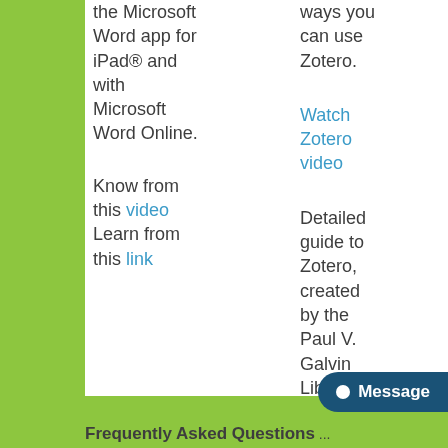the Microsoft Word app for iPad® and with Microsoft Word Online.
ways you can use Zotero.
Watch Zotero video
Know from this video Learn from this link
Detailed guide to Zotero, created by the Paul V. Galvin Library.
Watch detailed guide to Zotero
Frequently Asked Questions...
Message